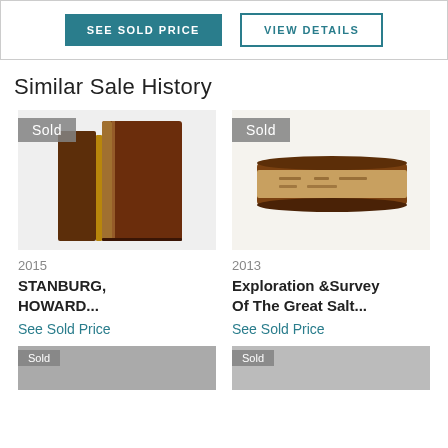SEE SOLD PRICE | VIEW DETAILS
Similar Sale History
[Figure (photo): Photo of two antique leather-bound books standing upright, dark brown covers with gold spine, with a 'Sold' badge overlay]
2015
STANBURG, HOWARD...
See Sold Price
[Figure (photo): Photo of an antique worn book viewed from the spine/side, brown and tan leather, with a 'Sold' badge overlay]
2013
Exploration &Survey Of The Great Salt...
See Sold Price